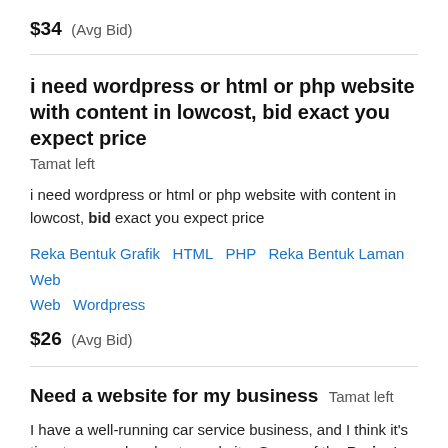$34  (Avg Bid)
i need wordpress or html or php website with content in lowcost, bid exact you expect price
Tamat left
i need wordpress or html or php website with content in lowcost, bid exact you expect price
Reka Bentuk Grafik  HTML  PHP  Reka Bentuk Laman Web  Wordpress
$26  (Avg Bid)
Need a website for my business  Tamat left
I have a well-running car service business, and I think it's time to expand and get a website. Scope of the Project: The project has two phases. Phase 1 is needed, phase 2